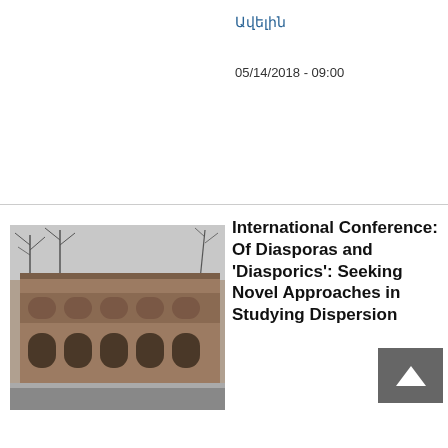Ավելին
05/14/2018 - 09:00
[Figure (photo): Stone building facade with arched windows and bare trees, appears to be a university building in Yerevan, Armenia]
International Conference: Of Diasporas and 'Diasporics': Seeking Novel Approaches in Studying Dispersion
Ավելին
04/03/2018 - 12:00
[Figure (photo): Satellite/aerial map view of a coastal region, showing land and sea]
"An Island in Spite of Itself: Armenians Making Community